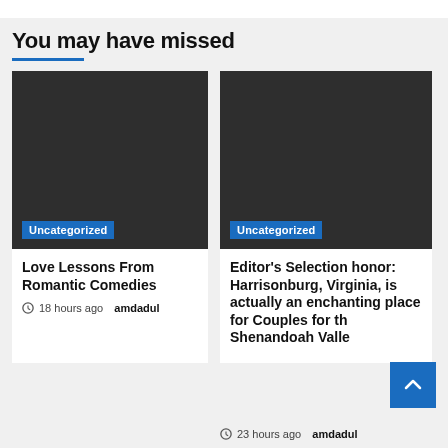You may have missed
[Figure (photo): Dark placeholder image with Uncategorized blue badge at bottom left]
Love Lessons From Romantic Comedies
18 hours ago  amdadul
[Figure (photo): Dark placeholder image with Uncategorized blue badge at bottom left]
Editor’s Selection honor: Harrisonburg, Virginia, is actually an enchanting place for Couples for the Shenandoah Valley
23 hours ago  amdadul